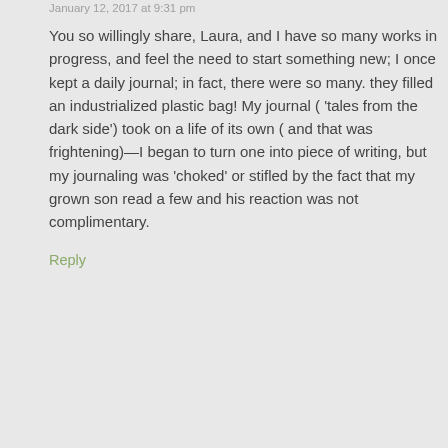January 12, 2017 at 9:31 pm
You so willingly share, Laura, and I have so many works in progress, and feel the need to start something new; I once kept a daily journal; in fact, there were so many. they filled an industrialized plastic bag! My journal ( 'tales from the dark side') took on a life of its own ( and that was frightening)—I began to turn one into piece of writing, but my journaling was 'choked' or stifled by the fact that my grown son read a few and his reaction was not complimentary.
Reply